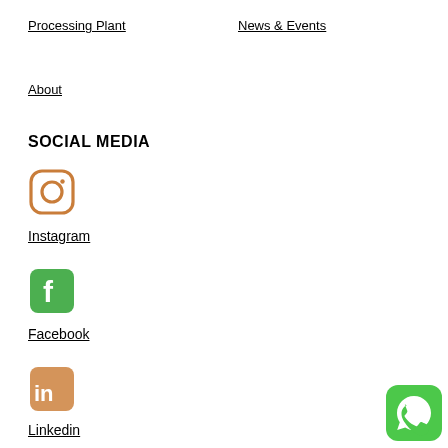Processing Plant
News & Events
About
SOCIAL MEDIA
[Figure (logo): Instagram logo icon - rounded square outline with camera lens circle and dot, brown/orange color]
Instagram
[Figure (logo): Facebook logo icon - green rounded square with white 'f' letter]
Facebook
[Figure (logo): LinkedIn logo icon - orange/tan rounded square with white 'in' text]
Linkedin
[Figure (logo): WhatsApp logo icon - bright green rounded square with white phone/chat bubble]